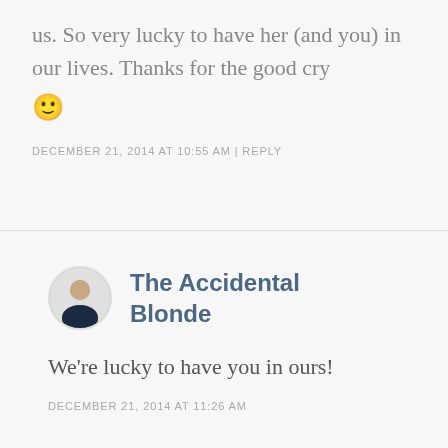us. So very lucky to have her (and you) in our lives. Thanks for the good cry 🙂
DECEMBER 21, 2014 AT 10:55 AM | REPLY
The Accidental Blonde
We're lucky to have you in ours!
DECEMBER 21, 2014 AT 11:26 AM